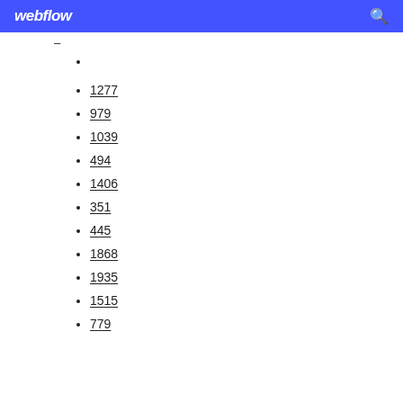webflow
1277
979
1039
494
1406
351
445
1868
1935
1515
779